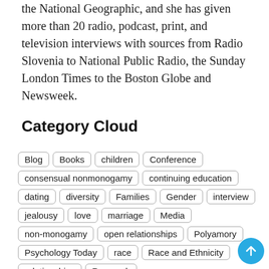the National Geographic, and she has given more than 20 radio, podcast, print, and television interviews with sources from Radio Slovenia to National Public Radio, the Sunday London Times to the Boston Globe and Newsweek.
Category Cloud
Blog  Books  children  Conference  consensual nonmonogamy  continuing education  dating  diversity  Families  Gender  interview  jealousy  love  marriage  Media  non-monogamy  open relationships  Polyamory  Psychology Today  race  Race and Ethnicity  relationships  Research